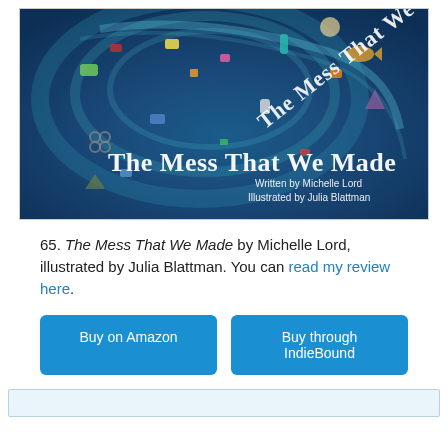[Figure (illustration): Book cover of 'The Mess That We Made' — a swirling ocean filled with colorful plastic debris and marine life, illustrated in shades of blue. Title text 'The Mess That We Made' in large serif font. Credits: Written by Michelle Lord, Illustrated by Julia Blattman.]
65. The Mess That We Made by Michelle Lord, illustrated by Julia Blattman. You can read my review here.
Buy on Amazon
Buy through IndieBound